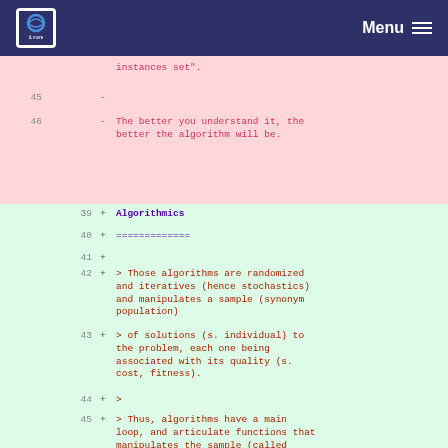CRSYA | Menu
instances set".
45  -
46  - The better you understand it, the better the algorithm will be.
39  + Algorithmics
40  + =============
41  +
42  + > Those algorithms are randomized and iteratives (hence stochastics) and manipulates a sample (synonym population)
43  + > of solutions (s. individual) to the problem, each one being associated with its quality (s. cost, fitness).
44  + >
45  + > Thus, algorithms have a main loop, and articulate functions that manipulates the sample (called "operators").